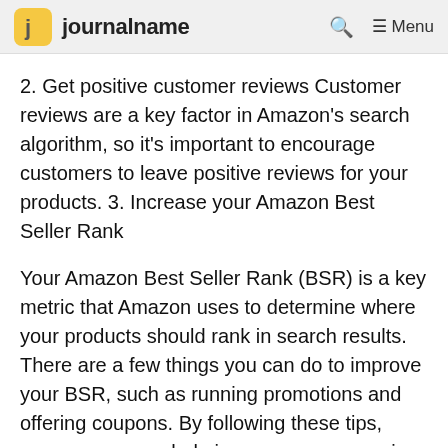journalname
2. Get positive customer reviews Customer reviews are a key factor in Amazon's search algorithm, so it's important to encourage customers to leave positive reviews for your products. 3. Increase your Amazon Best Seller Rank
Your Amazon Best Seller Rank (BSR) is a key metric that Amazon uses to determine where your products should rank in search results. There are a few things you can do to improve your BSR, such as running promotions and offering coupons. By following these tips, you can help increase your organic sales Amazon.